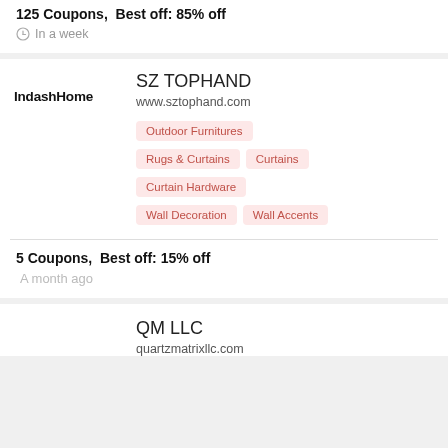125 Coupons,  Best off: 85% off
In a week
SZ TOPHAND
www.sztophand.com
IndashHome
Outdoor Furnitures
Rugs & Curtains
Curtains
Curtain Hardware
Wall Decoration
Wall Accents
5 Coupons,  Best off: 15% off
A month ago
QM LLC
quartzmatrixllc.com